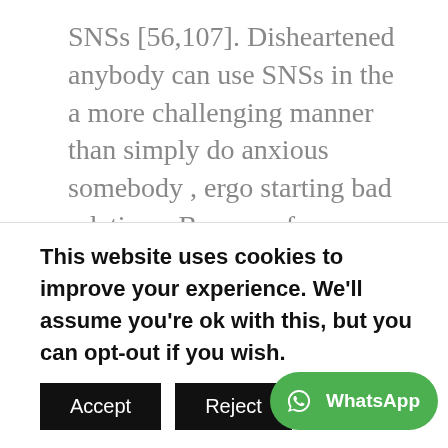SNSs [56,107]. Disheartened anybody can use SNSs in the a more challenging manner than simply do anxious somebody , ergo starting bad relations. By way of example, attacks registered within age of thirteen ages notably forecast a good quicker probability of finding comments you to consisted of deviancy talk out of SNS co-worker at the chronilogical age of twenty years; not, attacks within age of 2 decades predicted an increased for example from vocally abusive
This website uses cookies to improve your experience. We'll assume you're ok with this, but you can opt-out if you wish.